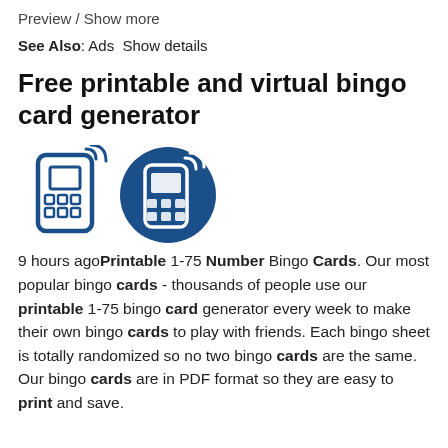Preview / Show more
See Also: Ads  Show details
Free printable and virtual bingo card generator
[Figure (illustration): Two bingo card/mobile device icons side by side — a line-art version on the left and a filled dark blue circular icon on the right, both depicting a handheld device with wireless signal waves.]
9 hours agoPrintable 1-75 Number Bingo Cards. Our most popular bingo cards - thousands of people use our printable 1-75 bingo card generator every week to make their own bingo cards to play with friends. Each bingo sheet is totally randomized so no two bingo cards are the same. Our bingo cards are in PDF format so they are easy to print and save.